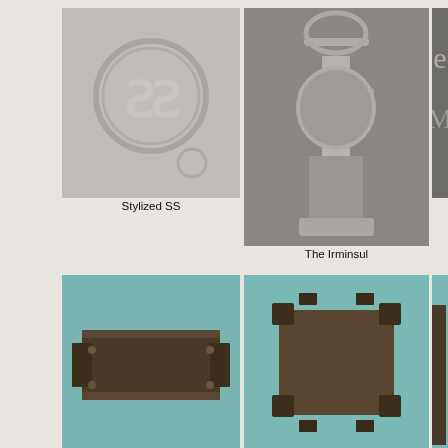[Figure (photo): Close-up photo of a stylized SS rune symbol in a circular metal emblem on a gray background]
Stylized SS
[Figure (photo): Photo of the Irminsul symbol, a carved wooden or metal decorative piece with stylized bird on top, on gray metal background]
The Irminsul
[Figure (photo): Partial photo of Gothic text lettering on a surface, cropped at right edge]
[Figure (photo): Photo of the backside of a metal box/plaque with rivets on teal background]
The backside
[Figure (photo): Bottom view of a metal box with corner pieces on teal background]
Bottom view
[Figure (photo): Partial photo of a dark metal box at right edge]
[Figure (photo): Angled view of a dark metal/wood box with rivets and decorative elements on teal background]
[Figure (photo): Open wooden box/casket showing interior on teal background]
[Figure (photo): Partial photo of a dark box with Gothic lettering at right edge]